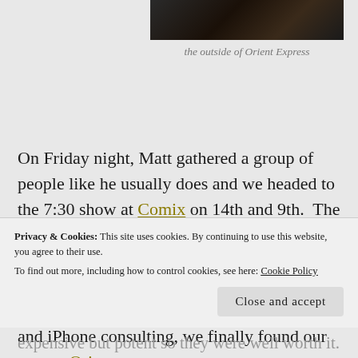[Figure (photo): Dark photograph showing the outside of Orient Express restaurant/bar]
the outside of Orient Express
On Friday night, Matt gathered a group of people like he usually does and we headed to the 7:30 show at Comix on 14th and 9th.  The show was great, and afterward Paul said he knew of a bar nearby that we should go to.  I was almost ready to jump ship at 14th and 8th, but I'm glad I didn't.  After lots of u-turns and iPhone consulting, we finally found our way to Orient Express on West 23rd Street.
Privacy & Cookies: This site uses cookies. By continuing to use this website, you agree to their use.
To find out more, including how to control cookies, see here: Cookie Policy
expensive but potent so they were well worth it.  we